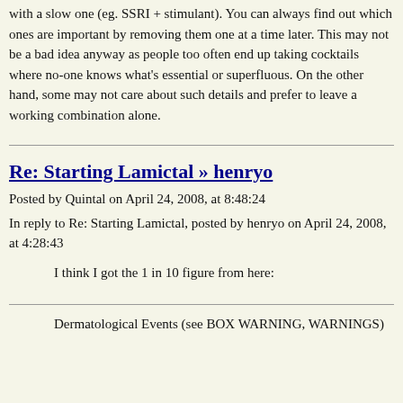with a slow one (eg. SSRI + stimulant). You can always find out which ones are important by removing them one at a time later. This may not be a bad idea anyway as people too often end up taking cocktails where no-one knows what's essential or superfluous. On the other hand, some may not care about such details and prefer to leave a working combination alone.
Re: Starting Lamictal » henryo
Posted by Quintal on April 24, 2008, at 8:48:24
In reply to Re: Starting Lamictal, posted by henryo on April 24, 2008, at 4:28:43
I think I got the 1 in 10 figure from here:
Dermatological Events (see BOX WARNING, WARNINGS)